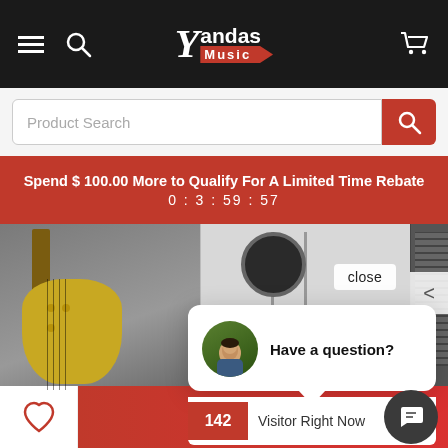[Figure (screenshot): Yandas Music website screenshot showing navigation bar with hamburger menu, search icon, Yandas Music logo, and cart icon on dark background]
Product Search
Spend $ 100.00 More to Qualify For A Limited Time Rebate
0 : 3 : 59 : 57
[Figure (photo): Product images showing a gold Squier bass guitar, an electronic drum kit, and a dark amplifier]
close
*COSMETIC DAM...
Squier 40th Anniv
Precision Bass, G....
Roc
T 200
Comb
Have a question?
142 Visitor Right Now
+ Add To Cart